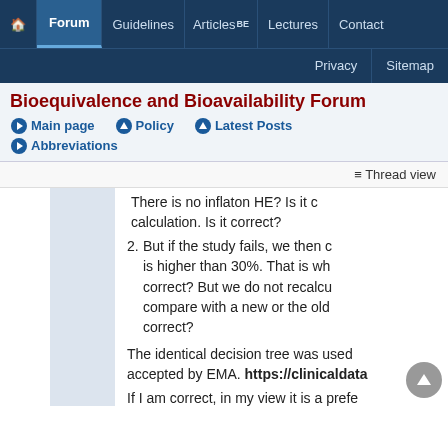Navigation bar: Home | Forum | Guidelines | Articles BE | Lectures | Contact | Privacy | Sitemap
Bioequivalence and Bioavailability Forum
Main page | Policy | Latest Posts | Abbreviations
≡ Thread view
There is no inflaton HE? Is it calculation. Is it correct?
But if the study fails, we then c... is higher than 30%. That is wh... correct? But we do not recalcu... compare with a new or the old... correct?
The identical decision tree was used... accepted by EMA. https://clinicaldata
If I am correct, in my view it is a prefe...
Best regards